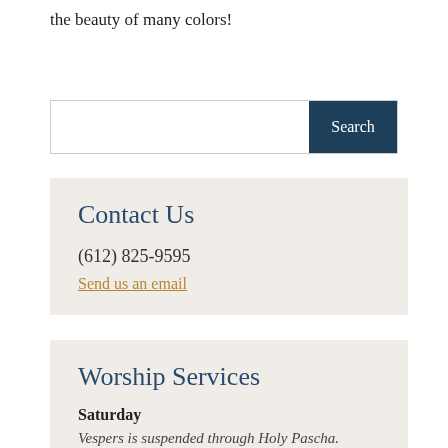the beauty of many colors!
[Figure (other): Search bar with text input field and Search button]
Contact Us
(612) 825-9595
Send us an email
Worship Services
Saturday
Vespers is suspended through Holy Pascha.